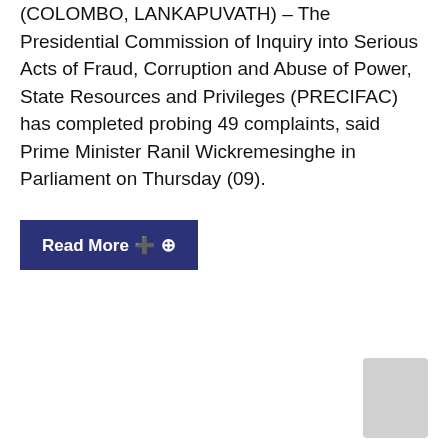(COLOMBO, LANKAPUVATH) – The Presidential Commission of Inquiry into Serious Acts of Fraud, Corruption and Abuse of Power, State Resources and Privileges (PRECIFAC) has completed probing 49 complaints, said Prime Minister Ranil Wickremesinghe in Parliament on Thursday (09).
Read More ⊕